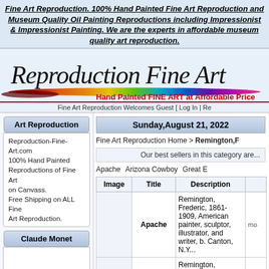Fine Art Reproduction. 100% Hand Painted Fine Art Reproduction and Museum Quality Oil Painting Reproductions including Impressionist & Impressionist Painting. We are the experts in affordable museum quality art reproduction.
[Figure (logo): Reproduction Fine Art logo with rainbow paintbrush stroke and tagline 'Hand Painted FINE ART at Affordable Price']
Fine Art Reproduction Welcomes Guest [ Log In | Re
Art Reproduction
Sunday,August 21, 2022
Reproduction-Fine-Art.com 100% Hand Painted Reproductions of Fine Art on Canvass. Free Shipping on ALL Fine Art Reproduction.
Fine Art Reproduction Home > Remington,F
Our best sellers in this category are...
Apache   Arizona Cowboy   Great E
Claude Monet
| Image | Title | Description |  |
| --- | --- | --- | --- |
|  | Apache | Remington, Frederic, 1861-1909, American painter, sculptor, illustrator, and writer, b. Canton, N.Y... | mo |
|  | Arizona Cowboy | Remington, Frederic, 1861-1909, American painter, sculptor, illustrator, and writer, | mo |